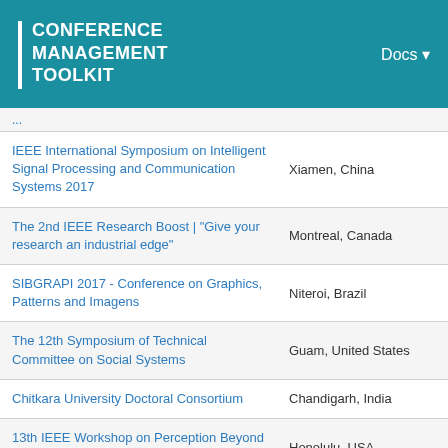CONFERENCE MANAGEMENT TOOLKIT   Docs
| Conference | Location |
| --- | --- |
| IEEE International Symposium on Intelligent Signal Processing and Communication Systems 2017 | Xiamen, China |
| The 2nd IEEE Research Boost | "Give your research an industrial edge" | Montreal, Canada |
| SIBGRAPI 2017 - Conference on Graphics, Patterns and Imagens | Niteroi, Brazil |
| The 12th Symposium of Technical Committee on Social Systems | Guam, United States |
| Chitkara University Doctoral Consortium | Chandigarh, India |
| 13th IEEE Workshop on Perception Beyond the Visible Spectrum | Honolulu, USA |